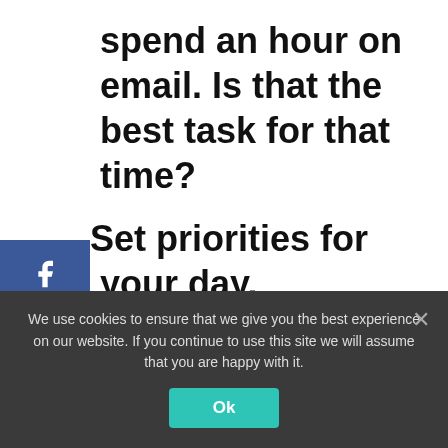spend an hour on email. Is that the best task for that time?
Set priorities for your day.
What is most important for you to get done tomorrow? (Remember, you're planning the night before.)
[Figure (screenshot): Social share buttons sidebar: Facebook (blue), Twitter (light blue), Pinterest (red), with share count of 5]
We use cookies to ensure that we give you the best experience on our website. If you continue to use this site we will assume that you are happy with it.